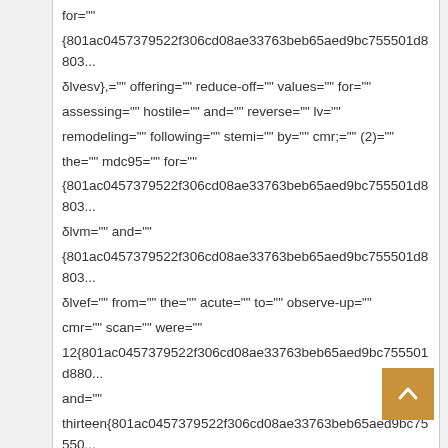for="" {801ac0457379522f306cd08ae33763beb65aed9bc755501d8803... δlvesv},="" offering="" reduce-off="" values="" for="" assessing="" hostile="" and="" reverse="" lv="" remodeling="" following="" stemi="" by="" cmr;="" (2)="" the="" mdc95="" for="" {801ac0457379522f306cd08ae33763beb65aed9bc755501d8803... δlvm="" and="" {801ac0457379522f306cd08ae33763beb65aed9bc755501d8803... δlvef="" from="" the="" acute="" to="" observe-up="" cmr="" scan="" were="" 12{801ac0457379522f306cd08ae33763beb65aed9bc755501d880... and="" thirteen{801ac0457379522f306cd08ae33763beb65aed9bc75550... respectively,="" providing="" minimize-off="" values="" for="" assessing="" modifications="" in="" these="" lv=